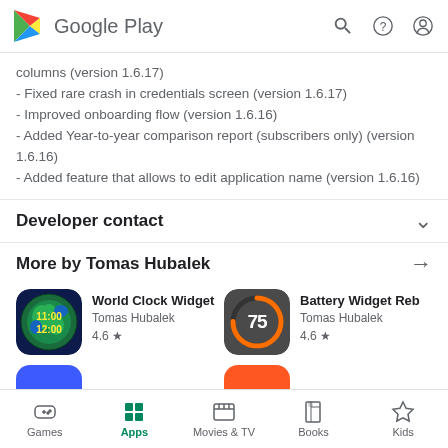Google Play
columns (version 1.6.17)
- Fixed rare crash in credentials screen (version 1.6.17)
- Improved onboarding flow (version 1.6.16)
- Added Year-to-year comparison report (subscribers only) (version 1.6.16)
- Added feature that allows to edit application name (version 1.6.16)
Developer contact
More by Tomas Hubalek
[Figure (screenshot): World Clock Widget app icon — globe image with green landmasses, yellow time labels 11:00 and 12:00 on dark blue background]
World Clock Widget
Tomas Hubalek
4.6 ★
[Figure (screenshot): Battery Widget Reborn app icon — dark grey rounded square with orange circular progress arc and number 75 in white]
Battery Widget Reb
Tomas Hubalek
4.6 ★
Games  Apps  Movies & TV  Books  Kids